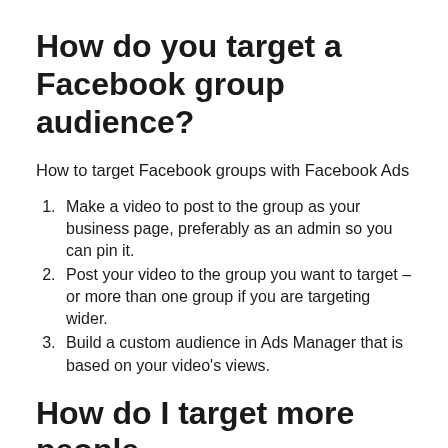How do you target a Facebook group audience?
How to target Facebook groups with Facebook Ads
Make a video to post to the group as your business page, preferably as an admin so you can pin it.
Post your video to the group you want to target – or more than one group if you are targeting wider.
Build a custom audience in Ads Manager that is based on your video's views.
How do I target more people